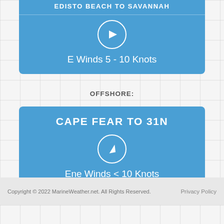EDISTO BEACH TO SAVANNAH
E Winds 5 - 10 Knots
OFFSHORE:
CAPE FEAR TO 31N
Ene Winds < 10 Knots
Copyright © 2022 MarineWeather.net. All Rights Reserved.    Privacy Policy